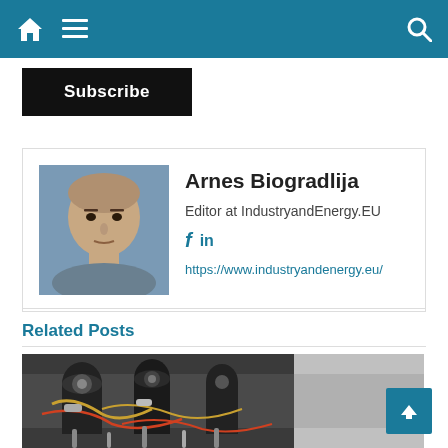Navigation bar with home, menu, and search icons
Subscribe
[Figure (photo): Portrait photo of Arnes Biogradlija, a man with a shaved head wearing a patterned shirt, set against a blue background]
Arnes Biogradlija
Editor at IndustryandEnergy.EU
f in
https://www.industryandenergy.eu/
Related Posts
[Figure (photo): Photograph of industrial machinery with tubes, cables, and mechanical components]
[Figure (photo): Partial image of related post on the right side]